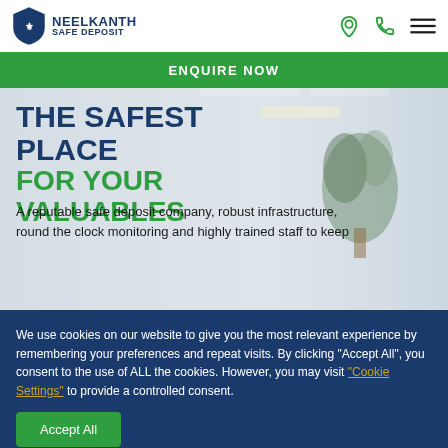NEELKANTH SAFE DEPOSIT
ENQUIRE NOW
THE SAFEST PLACE
FOR YOUR VALUABLES
A reputable safe deposit company, robust infrastructure, round the clock monitoring and highly trained staff to keep
We use cookies on our website to give you the most relevant experience by remembering your preferences and repeat visits. By clicking “Accept All”, you consent to the use of ALL the cookies. However, you may visit “Cookie Settings” to provide a controlled consent.
Accept All